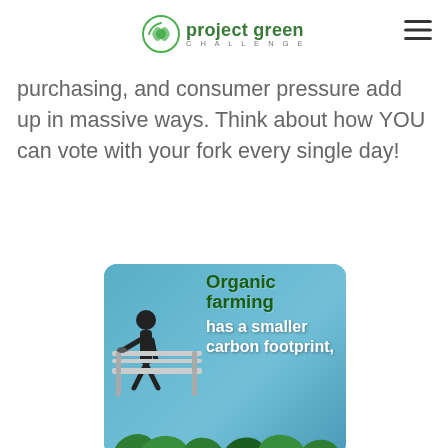project green CHALLENGE
purchasing, and consumer pressure add up in massive ways. Think about how YOU can vote with your fork every single day!
[Figure (illustration): Infographic image with blue background showing a stick figure person sitting on a bench, with text overlay reading 'Organic farming has a smaller carbon footprint,' and green leaf decorations at the bottom.]
Video
[Figure (screenshot): Partial video thumbnail showing green figures/people icons at the bottom of the frame, cut off at the page edge.]